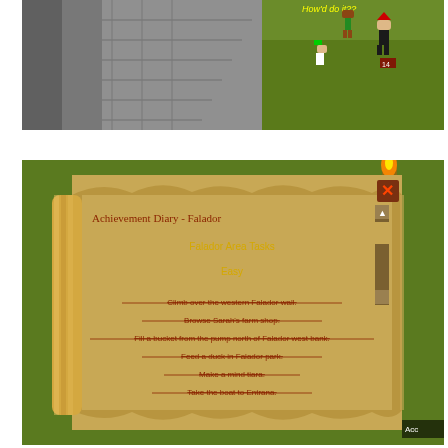[Figure (screenshot): RuneScape game screenshot showing characters on stone stairs with green landscape background. Yellow chat text visible reading 'How'd do it??' in upper right area.]
[Figure (screenshot): RuneScape Achievement Diary interface showing a scroll UI titled 'Achievement Diary - Falador' with section 'Falador Area Tasks', subsection 'Easy', and list of completed (strikethrough) tasks: Climb over the western Falador wall, Browse Sarah's farm shop, Fill a bucket from the pump north of Falador west bank, Feed a duck in Falador park, Make a mind tiara, Take the boat to Entrana.]